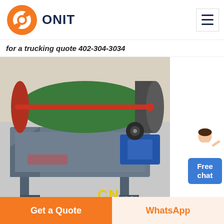[Figure (logo): ONIT logo — orange circular ring icon with ONIT text in dark navy bold]
[Figure (other): Hamburger menu icon (three horizontal lines) in a bordered square]
for a trucking quote 402-304-3034
[Figure (photo): Industrial magnetic separator machine with green and red roller drum, gray body, blue motor, with CN label at bottom]
[Figure (photo): Partial view of a second industrial machine with blue/brown tones]
[Figure (illustration): Free chat widget with a person avatar and blue bubble saying Free chat]
Get a Quote
WhatsApp